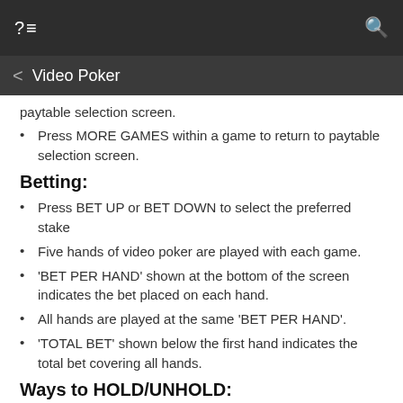?≡   Video Poker   🔍
paytable selection screen.
Press MORE GAMES within a game to return to paytable selection screen.
Betting:
Press BET UP or BET DOWN to select the preferred stake
Five hands of video poker are played with each game.
'BET PER HAND' shown at the bottom of the screen indicates the bet placed on each hand.
All hands are played at the same 'BET PER HAND'.
'TOTAL BET' shown below the first hand indicates the total bet covering all hands.
Ways to HOLD/UNHOLD:
Press one card at a time